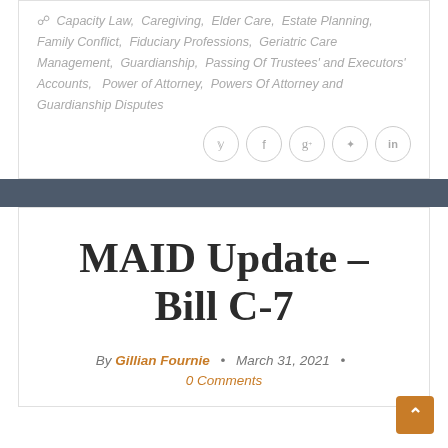Capacity Law, Caregiving, Elder Care, Estate Planning, Family Conflict, Fiduciary Professions, Geriatric Care Management, Guardianship, Passing Of Trustees' and Executors' Accounts, Power of Attorney, Powers Of Attorney and Guardianship Disputes
[Figure (other): Social sharing icons: Twitter, Facebook, Google+, Pinterest, LinkedIn as circular outlined buttons]
MAID Update – Bill C-7
By Gillian Fournie • March 31, 2021 • 0 Comments